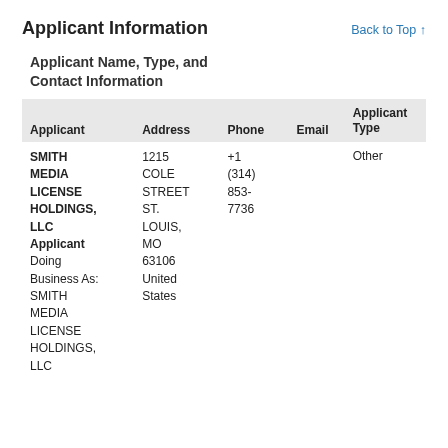Applicant Information
Back to Top ↑
Applicant Name, Type, and Contact Information
| Applicant | Address | Phone | Email | Applicant Type |
| --- | --- | --- | --- | --- |
| SMITH MEDIA LICENSE HOLDINGS, LLC
Applicant
Doing Business As: SMITH MEDIA LICENSE HOLDINGS, LLC | 1215 COLE STREET ST. LOUIS, MO 63106 United States | +1 (314) 853-7736 |  | Other |